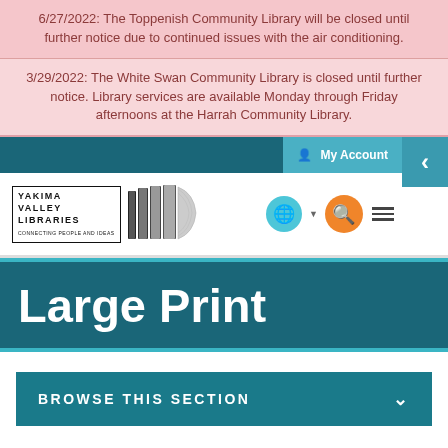6/27/2022: The Toppenish Community Library will be closed until further notice due to continued issues with the air conditioning.
3/29/2022: The White Swan Community Library is closed until further notice. Library services are available Monday through Friday afternoons at the Harrah Community Library.
[Figure (screenshot): Yakima Valley Libraries website navigation bar with My Account button, logo, globe icon, search icon, and hamburger menu.]
Large Print
BROWSE THIS SECTION
English  Español